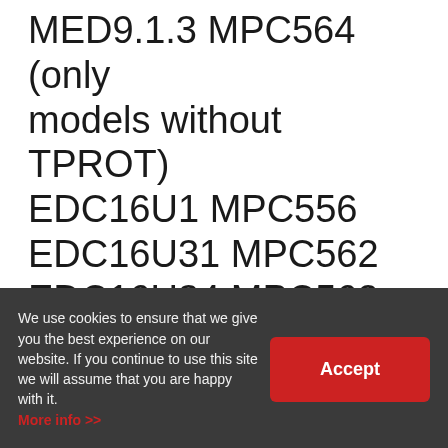MED9.1.3 MPC564 (only models without TPROT) EDC16U1 MPC556 EDC16U31 MPC562 EDC16U34 MPC562 EDC16CP34 MPC564
BMW
EDC16C1 MPC556
We use cookies to ensure that we give you the best experience on our website. If you continue to use this site we will assume that you are happy with it.